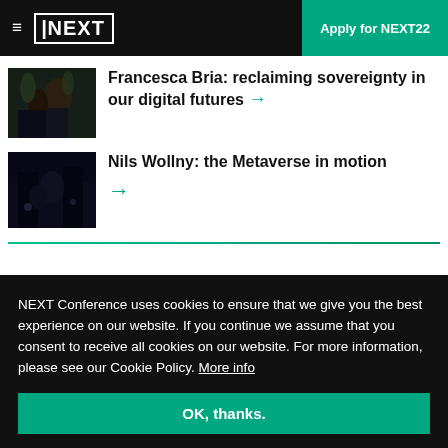≡ NEXT | Apply for NEXT22
Francesca Bria: reclaiming sovereignty in our digital futures →
Nils Wollny: the Metaverse in motion →
NEXT Conference uses cookies to ensure that we give you the best experience on our website. If you continue we assume that you consent to receive all cookies on our website. For more information, please see our Cookie Policy. More info
OK, thanks.